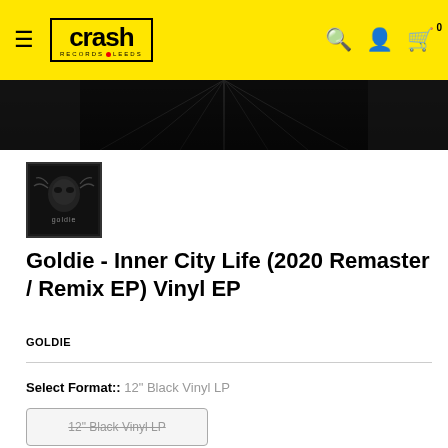Crash Records Leeds — navigation header with search, account, and cart icons
[Figure (photo): Dark abstract banner image showing a close-up of a vinyl record or dark mechanical surface]
[Figure (photo): Small thumbnail of Goldie album art — dark background with skull/mask imagery and 'Goldie' text]
Goldie - Inner City Life (2020 Remaster / Remix EP) Vinyl EP
GOLDIE
Select Format:: 12" Black Vinyl LP
12" Black Vinyl LP (strikethrough)